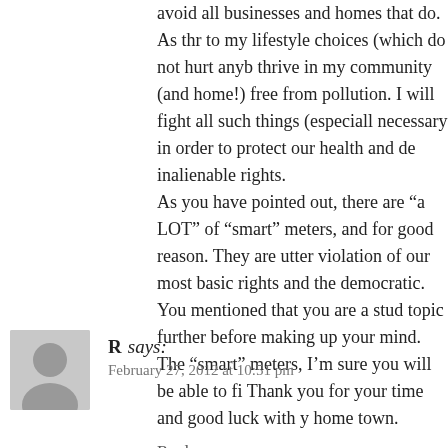avoid all businesses and homes that do. As thr to my lifestyle choices (which do not hurt anyb thrive in my community (and home!) free from pollution. I will fight all such things (especiall necessary in order to protect our health and de inalienable rights.
As you have pointed out, there are “a LOT” of “smart” meters, and for good reason. They are utter violation of our most basic rights and the democratic. You mentioned that you are a stud topic further before making up your mind. The “smart” meters, I’m sure you will be able to fi Thank you for your time and good luck with y home town.
Reply
R says:
February 27, 2012 at 10:51 pm